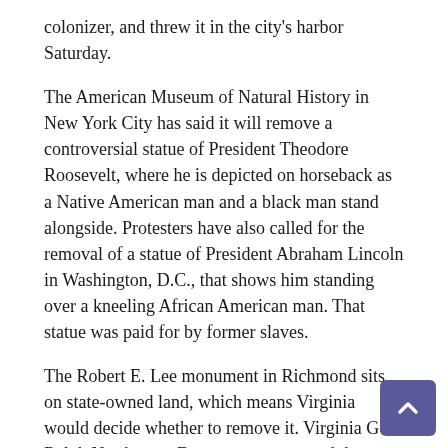colonizer, and threw it in the city's harbor Saturday.
The American Museum of Natural History in New York City has said it will remove a controversial statue of President Theodore Roosevelt, where he is depicted on horseback as a Native American man and a black man stand alongside. Protesters have also called for the removal of a statue of President Abraham Lincoln in Washington, D.C., that shows him standing over a kneeling African American man. That statue was paid for by former slaves.
The Robert E. Lee monument in Richmond sits on state-owned land, which means Virginia would decide whether to remove it. Virginia Gov. Ralph Northam, a Democrat, announced the statue would be removed, but the process is on hold pending the outcome of a lawsuit.
Richmond Circuit Court Judge Bradley Cavedo stopped the removal because of a lawsuit filed by William C. Gregory, great-grandson of one of the people who deeded the statue and land to the state. The deed was given on the condition